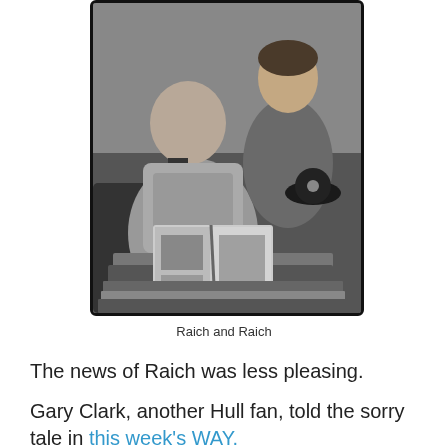[Figure (photo): Black and white photograph of two people — an older man and a younger boy — looking at an open scrapbook or album together. The boy holds what appears to be a dark cap or hat.]
Raich and Raich
The news of Raich was less pleasing.
Gary Clark, another Hull fan, told the sorry tale in this week's WAY.